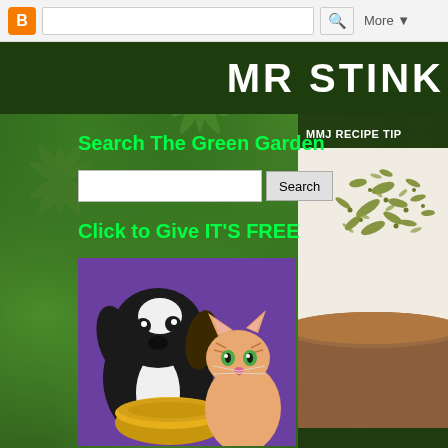[Figure (screenshot): Blogger toolbar with orange B icon, search box, magnifier button, and More dropdown]
MR STINK
Search The Green Garden
Search [input box] Search
Click to Give IT'S FREE
[Figure (illustration): Cartoon illustration of a black and white spaniel dog holding a bowl, with an orange tabby kitten beside it, on a purple background]
MMJ RECIPE TIP
[Figure (photo): Photo of dried cannabis/herb on a surface with a copper bowl edge visible]